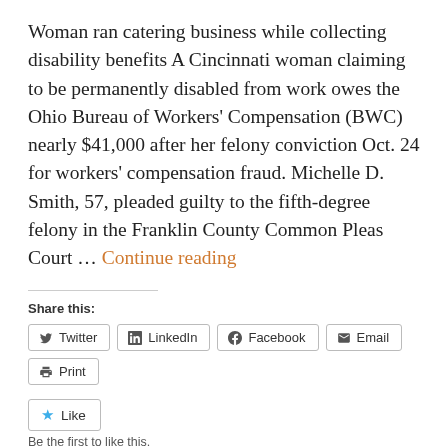Woman ran catering business while collecting disability benefits A Cincinnati woman claiming to be permanently disabled from work owes the Ohio Bureau of Workers' Compensation (BWC) nearly $41,000 after her felony conviction Oct. 24 for workers' compensation fraud. Michelle D. Smith, 57, pleaded guilty to the fifth-degree felony in the Franklin County Common Pleas Court … Continue reading
Share this:
Twitter
LinkedIn
Facebook
Email
Print
Like
Be the first to like this.